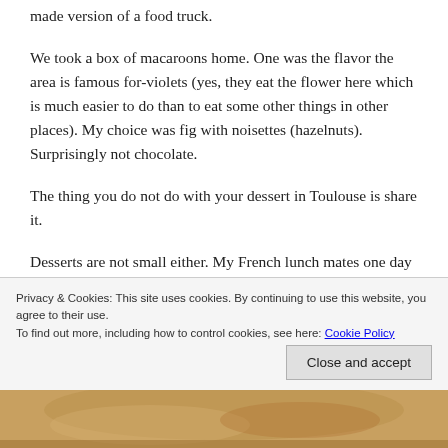made version of a food truck.
We took a box of macaroons home. One was the flavor the area is famous for-violets (yes, they eat the flower here which is much easier to do than to eat some other things in other places). My choice was fig with noisettes (hazelnuts). Surprisingly not chocolate.
The thing you do not do with your dessert in Toulouse is share it.
Desserts are not small either. My French lunch mates one day never even considered sharing
Privacy & Cookies: This site uses cookies. By continuing to use this website, you agree to their use.
To find out more, including how to control cookies, see here: Cookie Policy
Close and accept
[Figure (photo): Partial image of a dessert or food item, warm golden/brown tones, visible at the bottom of the page.]